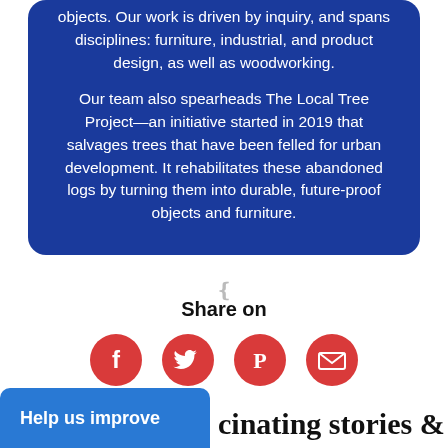objects. Our work is driven by inquiry, and spans disciplines: furniture, industrial, and product design, as well as woodworking.
Our team also spearheads The Local Tree Project—an initiative started in 2019 that salvages trees that have been felled for urban development. It rehabilitates these abandoned logs by turning them into durable, future-proof objects and furniture.
Share on
[Figure (infographic): Four red circular social media share buttons: Facebook (f), Twitter (bird), Pinterest (p), Email (envelope)]
cinating stories &
Help us improve